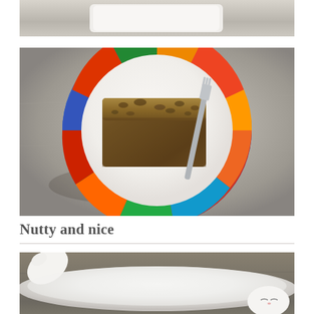[Figure (photo): Partial photo at top of page showing a white plate or tray on a stone/concrete surface, cropped at top]
[Figure (photo): Photo of a slice of nutty/walnut bread or cake on a colorful patterned plate with a fork, placed on a stone surface in sunlight]
Nutty and nice
[Figure (photo): Photo of a white cat lying on its side on a wooden surface, partially cropped at bottom of page]